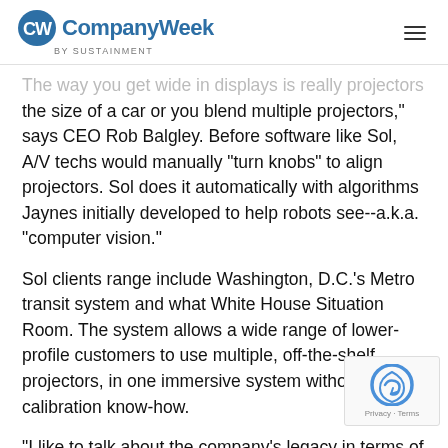CompanyWeek by SUSTAINMENT
The way you get wide in displays is really projectors the size of a car or you blend multiple projectors," says CEO Rob Balgley. Before software like Sol, A/V techs would manually "turn knobs" to align projectors. Sol does it automatically with algorithms Jaynes initially developed to help robots see--a.k.a. "computer vision."
Sol clients range include Washington, D.C.'s Metro transit system and what White House Situation Room. The system allows a wide range of lower-profile customers to use multiple, off-the-shelf projectors, in one immersive system without the calibration know-how.
"I like to talk about the company's legacy in terms of